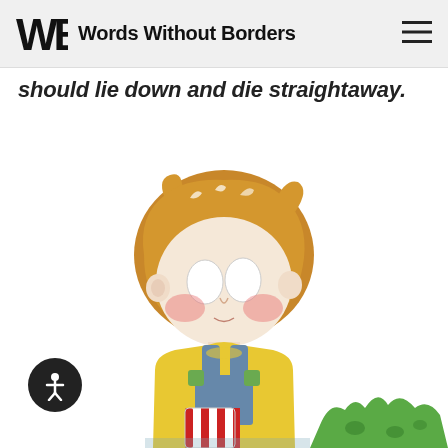Words Without Borders
should lie down and die straightaway.
BETA
[Figure (illustration): Cartoon illustration of a young boy with messy orange/golden hair, large white oval eyes, rosy cheeks, wearing a yellow shirt under grey overalls with green buttons, holding a red and white striped object. Partially visible green spiky creature at bottom right.]